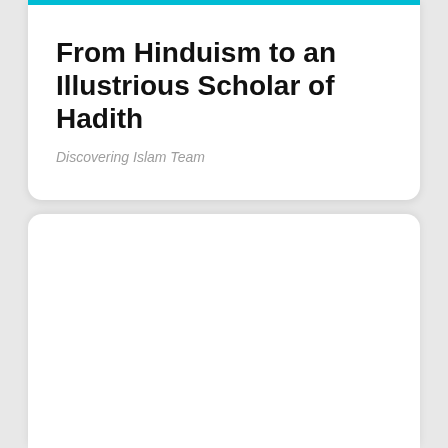From Hinduism to an Illustrious Scholar of Hadith
Discovering Islam Team